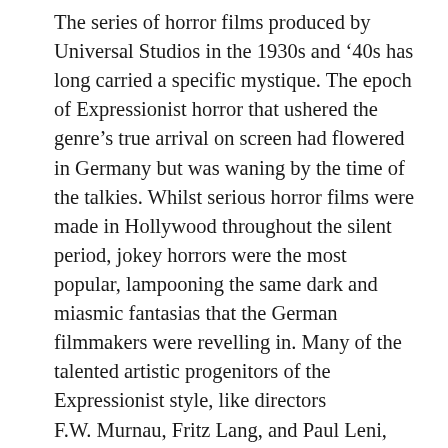The series of horror films produced by Universal Studios in the 1930s and '40s has long carried a specific mystique. The epoch of Expressionist horror that ushered the genre's true arrival on screen had flowered in Germany but was waning by the time of the talkies. Whilst serious horror films were made in Hollywood throughout the silent period, jokey horrors were the most popular, lampooning the same dark and miasmic fantasias that the German filmmakers were revelling in. Many of the talented artistic progenitors of the Expressionist style, like directors F.W. Murnau, Fritz Lang, and Paul Leni, and camera wizard Karl Freund, decamped to Hollywood, which had